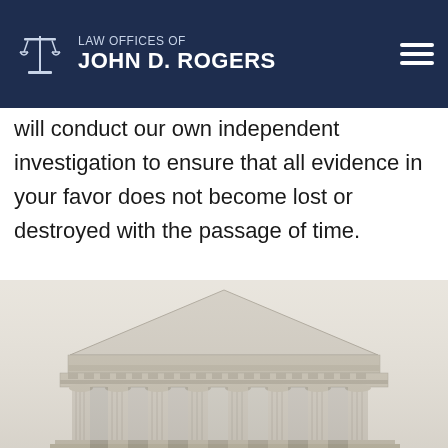LAW OFFICES OF JOHN D. ROGERS
government does not take advantage of your rights. We will do not make incriminating admissions. Additionally, our office will conduct our own independent investigation to ensure that all evidence in your favor does not become lost or destroyed with the passage of time.
[Figure (photo): Low-angle photograph of a neoclassical courthouse building with large Corinthian columns and triangular pediment, shot in black and white / sepia tone.]